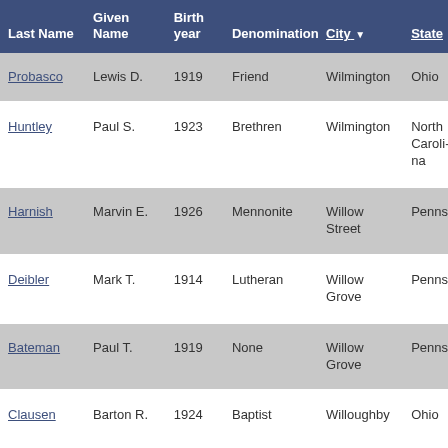| Last Name | Given Name | Birth year | Denomination | City | State |
| --- | --- | --- | --- | --- | --- |
| Probasco | Lewis D. | 1919 | Friend | Wilmington | Ohio |
| Huntley | Paul S. | 1923 | Brethren | Wilmington | North Carolina |
| Harnish | Marvin E. | 1926 | Mennonite | Willow Street | Pennsylvania |
| Deibler | Mark T. | 1914 | Lutheran | Willow Grove | Pennsylvania |
| Bateman | Paul T. | 1919 | None | Willow Grove | Pennsylvania |
| Clausen | Barton R. | 1924 | Baptist | Willoughby | Ohio |